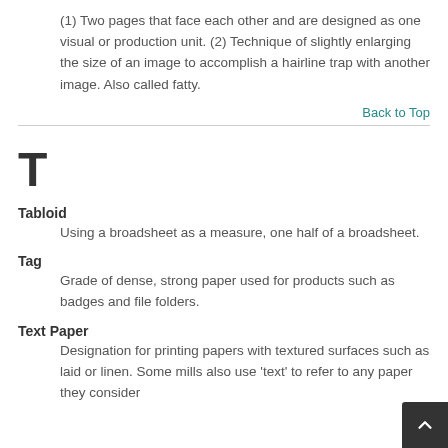(1) Two pages that face each other and are designed as one visual or production unit. (2) Technique of slightly enlarging the size of an image to accomplish a hairline trap with another image. Also called fatty.
Back to Top
T
Tabloid
Using a broadsheet as a measure, one half of a broadsheet.
Tag
Grade of dense, strong paper used for products such as badges and file folders.
Text Paper
Designation for printing papers with textured surfaces such as laid or linen. Some mills also use 'text' to refer to any paper they consider